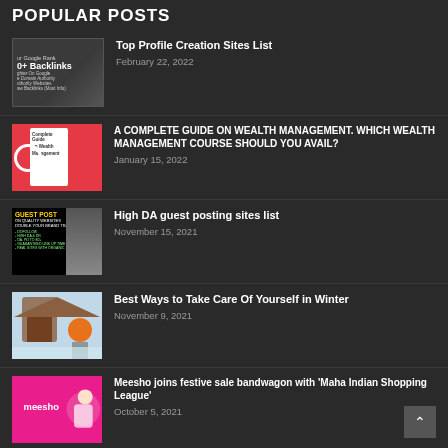POPULAR POSTS
Top Profile Creation Sites List
February 22, 2022
A COMPLETE GUIDE ON WEALTH MANAGEMENT. WHICH WEALTH MANAGEMENT COURSE SHOULD YOU AVAIL?
January 15, 2022
High DA guest posting sites list
November 15, 2021
Best Ways to Take Care Of Yourself in Winter
November 9, 2021
Meesho joins festive sale bandwagon with 'Maha Indian Shopping League'
October 5, 2021